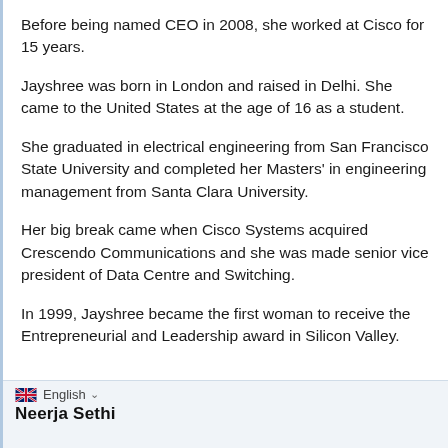Before being named CEO in 2008, she worked at Cisco for 15 years.
Jayshree was born in London and raised in Delhi. She came to the United States at the age of 16 as a student.
She graduated in electrical engineering from San Francisco State University and completed her Masters' in engineering management from Santa Clara University.
Her big break came when Cisco Systems acquired Crescendo Communications and she was made senior vice president of Data Centre and Switching.
In 1999, Jayshree became the first woman to receive the Entrepreneurial and Leadership award in Silicon Valley.
English  Neerja Sethi